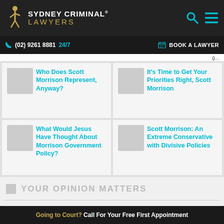[Figure (logo): Sydney Criminal Lawyers logo with gold figure and white/gold text on dark background]
(02) 9261 8881 24/7  BOOK A LAWYER
Who Does Scott Morrison Represent, Anyway?
It's Time to Get Your Priorities Right, Scott Morrison
What Would Jesus Have Thought About Morrison Government Policy?
Scott Morrison: An Extreme Conservative with Divisive Policies
YOUR OPINION MATTERS
Going to Court? Call For Your Free First Appointment